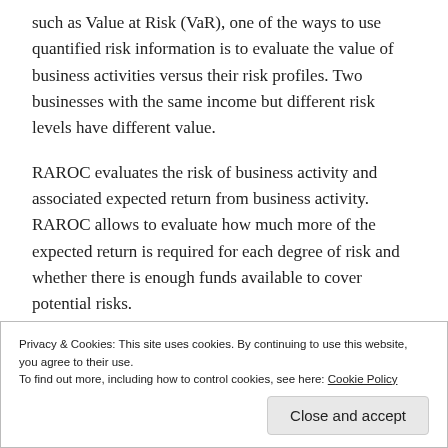such as Value at Risk (VaR), one of the ways to use quantified risk information is to evaluate the value of business activities versus their risk profiles. Two businesses with the same income but different risk levels have different value.
RAROC evaluates the risk of business activity and associated expected return from business activity. RAROC allows to evaluate how much more of the expected return is required for each degree of risk and whether there is enough funds available to cover potential risks.
Privacy & Cookies: This site uses cookies. By continuing to use this website, you agree to their use.
To find out more, including how to control cookies, see here: Cookie Policy